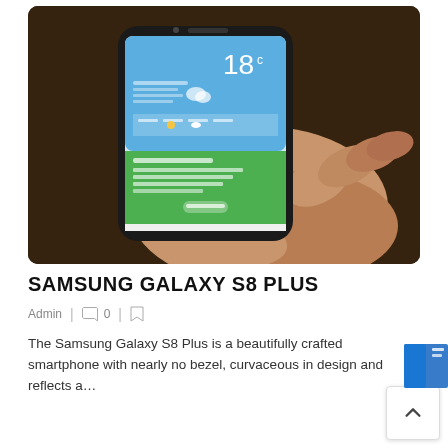[Figure (photo): A hand holding a Samsung Galaxy S8 Plus smartphone displaying a weather app showing 18°C and a green fitness/health tracking screen.]
SAMSUNG GALAXY S8 PLUS
Admin | 0 |
The Samsung Galaxy S8 Plus is a beautifully crafted smartphone with nearly no bezel, curvaceous in design and reflects a…